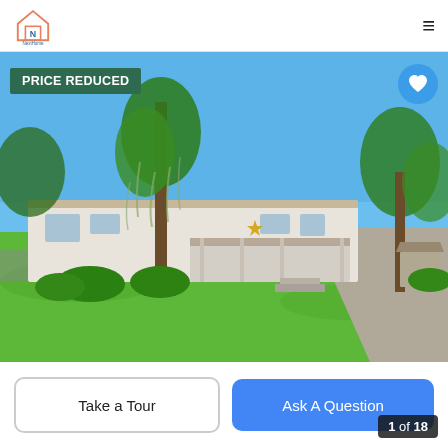NextHome logo and hamburger menu
[Figure (photo): Exterior photo of a single-story mobile/manufactured home with a large green lawn, Spanish moss-draped oak trees, and blue sky. A star decoration hangs on the front porch. Shed visible in background right.]
PRICE REDUCED
1 of 18
Take a Tour
Ask A Question